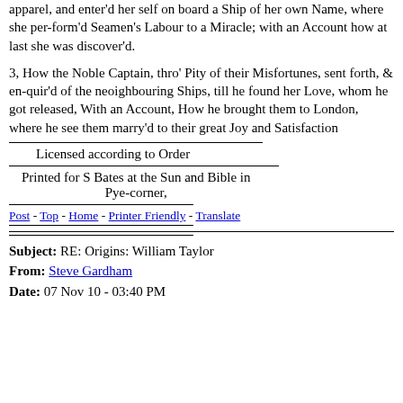apparel, and enter'd her self on board a Ship of her own Name, where she perform'd Seamen's Labour to a Miracle; with an Account how at last she was discover'd.
3, How the Noble Captain, thro' Pity of their Misfortunes, sent forth, & enquir'd of the neoighbouring Ships, till he found her Love, whom he got released, With an Account, How he brought them to London, where he see them marry'd to their great Joy and Satisfaction
Licensed according to Order
Printed for S Bates at the Sun and Bible in Pye-corner,
Post - Top - Home - Printer Friendly - Translate
Subject: RE: Origins: William Taylor
From: Steve Gardham
Date: 07 Nov 10 - 03:40 PM